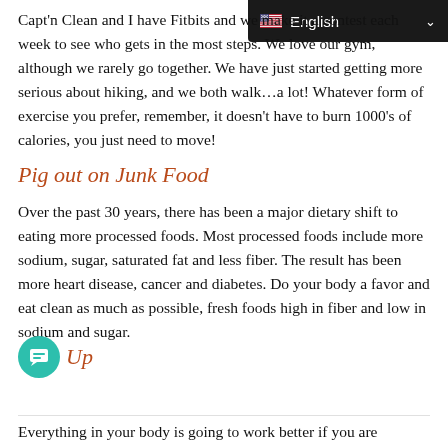[Figure (screenshot): Language selector dropdown showing English with US flag and chevron on dark background]
Capt'n Clean and I have Fitbits and we make it a contest each week to see who gets in the most steps. We love our gym, although we rarely go together. We have just started getting more serious about hiking, and we both walk...a lot! Whatever form of exercise you prefer, remember, it doesn't have to burn 1000's of calories, you just need to move!
Pig out on Junk Food
Over the past 30 years, there has been a major dietary shift to eating more processed foods. Most processed foods include more sodium, sugar, saturated fat and less fiber. The result has been more heart disease, cancer and diabetes. Do your body a favor and eat clean as much as possible, fresh foods high in fiber and low in sodium and sugar.
Up
Everything in your body is going to work better if you are